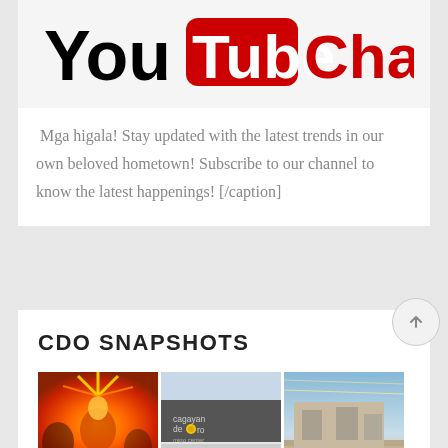[Figure (logo): YouTube Channel logo with black 'You', red rounded rectangle with white 'Tube', and red 'Channel' text]
Mga higala! Stay updated with the latest trends in our own beloved hometown! Subscribe to our channel to know the latest happenings! [/caption]
CDO SNAPSHOTS
[Figure (photo): Three CDO snapshot photos side by side: a colorful festival dancer, a Cagayan de Oro sign with sunflower logo, and a church/building with string lights]
[Figure (photo): Partial view of another CDO snapshot photo at the bottom]